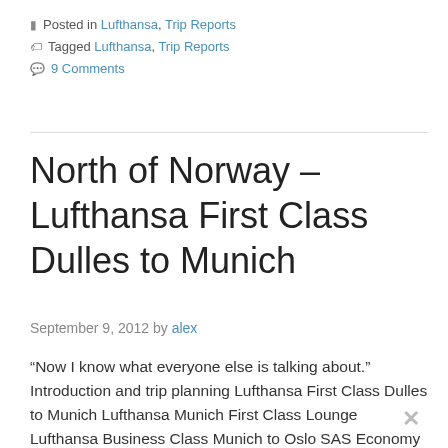Posted in Lufthansa, Trip Reports
Tagged Lufthansa, Trip Reports
9 Comments
North of Norway – Lufthansa First Class Dulles to Munich
September 9, 2012 by alex
“Now I know what everyone else is talking about.” Introduction and trip planning Lufthansa First Class Dulles to Munich Lufthansa Munich First Class Lounge Lufthansa Business Class Munich to Oslo SAS Economy Class Oslo to Longyearbyen Radisson Blu Polar Hotel, Spitsbergen Exploring Longyearbyen Radisson Blu Plaza Hotel, Oslo Exploring Oslo Park Inn By Radisson Oslo…